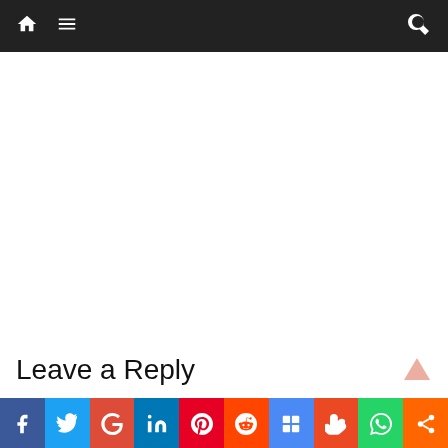Navigation bar with home, menu, and search icons
[Figure (other): Blank white content area representing an advertisement or empty space]
Leave a Reply
Your email address will not be published. Required fields are marked *
[Figure (other): Social sharing bar with Facebook, Twitter, Google+, LinkedIn, Pinterest, Reddit, Digg, StumbleUpon, WhatsApp, and Share buttons]